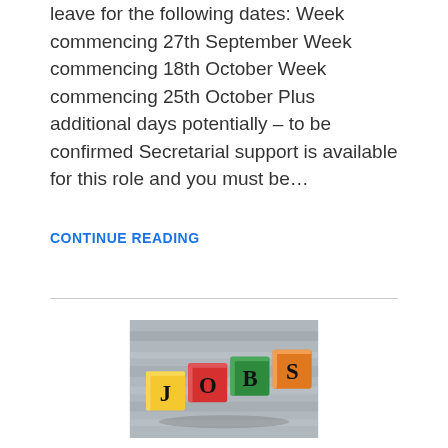leave for the following dates: Week commencing 27th September Week commencing 18th October Week commencing 25th October Plus additional days potentially – to be confirmed Secretarial support is available for this role and you must be…
CONTINUE READING
[Figure (photo): Photo of four colorful wooden blocks spelling JOBS — yellow (J), red (O), green (B), orange (S) — arranged on a wooden surface]